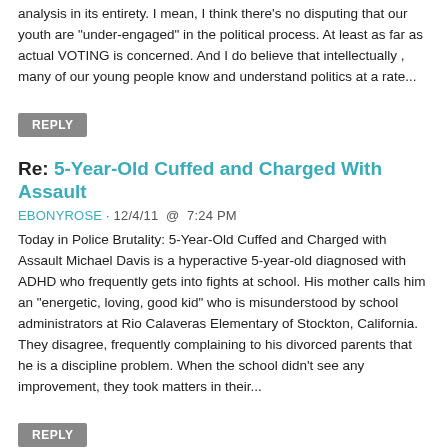analysis in its entirety. I mean, I think there's no disputing that our youth are "under-engaged" in the political process. At least as far as actual VOTING is concerned. And I do believe that intellectually , many of our young people know and understand politics at a rate...
REPLY
Re: 5-Year-Old Cuffed and Charged With Assault
EBONYROSE · 12/4/11  @  7:24 PM
Today in Police Brutality: 5-Year-Old Cuffed and Charged with Assault Michael Davis is a hyperactive 5-year-old diagnosed with ADHD who frequently gets into fights at school. His mother calls him an "energetic, loving, good kid" who is misunderstood by school administrators at Rio Calaveras Elementary of Stockton, California. They disagree, frequently complaining to his divorced parents that he is a discipline problem. When the school didn't see any improvement, they took matters in their...
REPLY
Re: 5-Year-Old Cuffed and Charged With Assault
KOCOLICIOUS · 12/5/11  @  11:33 AM
First of all, I don't BELIEVE in medicating children that YOUNG!!! Secondly, school officials are too quick to handcuff our children instead of using the